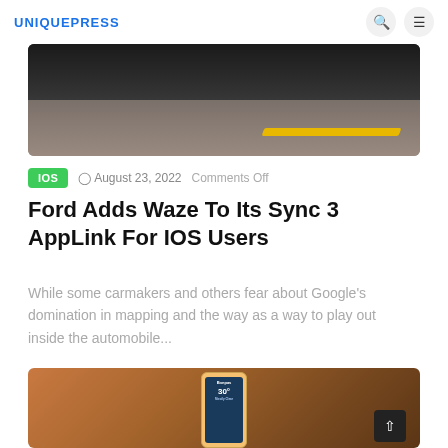UNIQUEPRESS
[Figure (photo): Bottom of a dark car on a road with yellow center lane markings, viewed from close to ground level]
IOS  ⊙ August 23, 2022  Comments Off
Ford Adds Waze To Its Sync 3 AppLink For IOS Users
While some carmakers and others fear about Google's domination in mapping and the way as a way to play out inside the automobile...
[Figure (photo): A hand holding a smartphone with a weather app showing 30 degrees temperature]